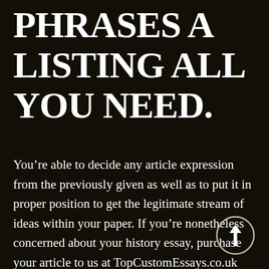PHRASES A LISTING ALL YOU NEED.
You’re able to decide any article expression from the previously given as well as to put it in proper position to get the legitimate stream of ideas within your paper. If you’re nonetheless concerned about your history essay, purchase your article to us at TopCustomEssays.co.uk and we
[Figure (illustration): A circular button with an upward-pointing arrow icon, outlined in light gray on dark background]